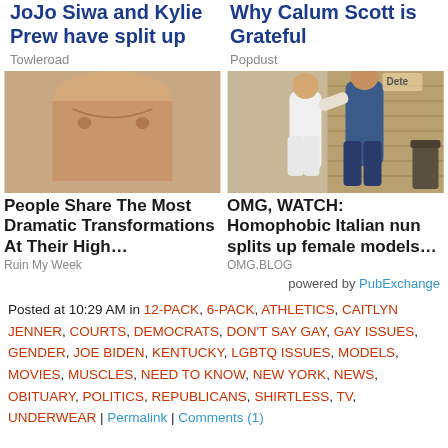JoJo Siwa and Kylie Prew have split up
Towleroad
Why Calum Scott is Grateful
Popdust
[Figure (photo): Close-up of a male torso (chest) with overlay text: nerdy guy got busted for selling a college and spent 15 months]
People Share The Most Dramatic Transformations At Their High…
Ruin My Week
[Figure (photo): Two people appearing to interact on a street, one in white clothing and one in a denim jacket, brick wall background]
OMG, WATCH: Homophobic Italian nun splits up female models…
OMG.BLOG
powered by PubExchange
Posted at 10:29 AM in 12-PACK, 6-PACK, ATHLETICS, CAITLYN JENNER, COURTS, DEMOCRATS, DON'T SAY GAY, GAY ISSUES, GENDER, JOE BIDEN, KENTUCKY, LGBTQ ISSUES, MODELS, MOVIES, MUSCLES, NEED TO KNOW, NEW YORK, NEWS, OBITUARY, POLITICS, REPUBLICANS, SHIRTLESS, TV, UNDERWEAR | Permalink | Comments (1)